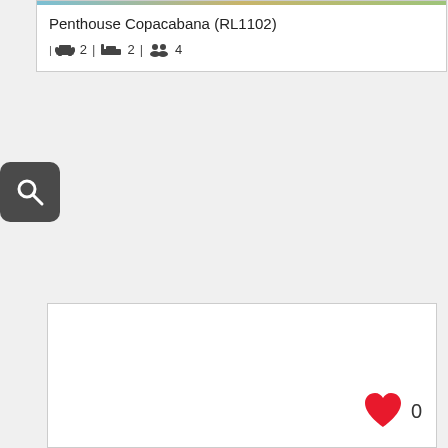Penthouse Copacabana (RL1102)
| 2 | 2 | 4
[Figure (screenshot): Search button with magnifying glass icon on dark rounded rectangle background]
[Figure (screenshot): White card panel with red heart icon and count 0 in bottom right corner]